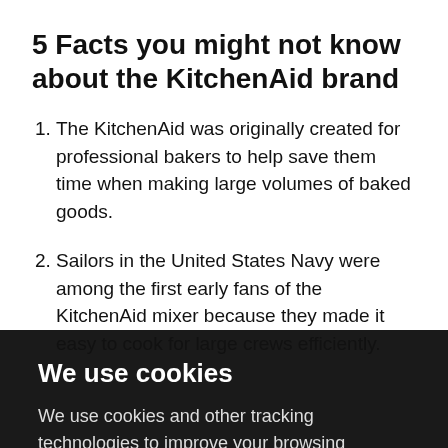5 Facts you might not know about the KitchenAid brand
The KitchenAid was originally created for professional bakers to help save them time when making large volumes of baked goods.
Sailors in the United States Navy were among the first early fans of the KitchenAid mixer because they made it easy to cook for large crews efficiently.
We use cookies
We use cookies and other tracking technologies to improve your browsing experience on our website, to show you personalized content and targeted ads, to analyze our website traffic, and